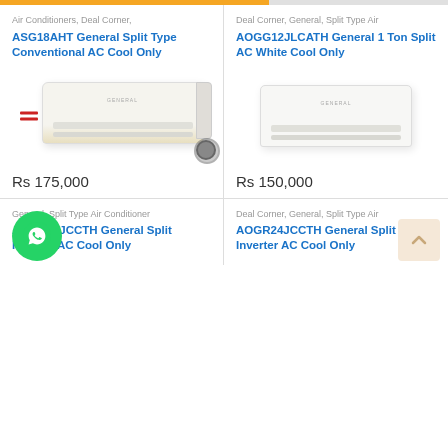Air Conditioners, Deal Corner,
ASG18AHT General Split Type Conventional AC Cool Only
[Figure (photo): White split type air conditioner unit with gold trim and remote]
Rs 175,000
Deal Corner, General, Split Type Air
AOGG12JLCATH General 1 Ton Split AC White Cool Only
[Figure (photo): White split type air conditioner unit]
Rs 150,000
General, Split Type Air Conditioner
AOGR18JCCTH General Split Inverter AC Cool Only
Deal Corner, General, Split Type Air
AOGR24JCCTH General Split Type Inverter AC Cool Only